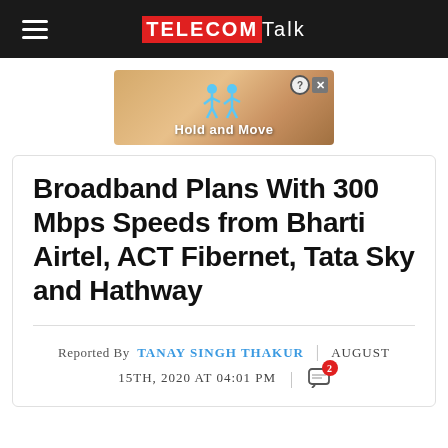TELECOMTALK
[Figure (illustration): Advertisement banner with 'Hold and Move' text and cartoon figures on a wooden background]
Broadband Plans With 300 Mbps Speeds from Bharti Airtel, ACT Fibernet, Tata Sky and Hathway
Reported By TANAY SINGH THAKUR | AUGUST 15TH, 2020 AT 04:01 PM | 2 comments